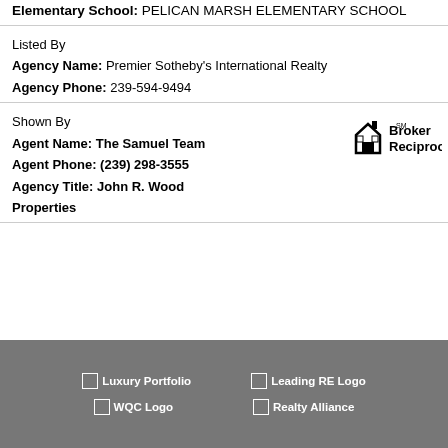Elementary School: PELICAN MARSH ELEMENTARY SCHOOL
Listed By
Agency Name: Premier Sotheby's International Realty
Agency Phone: 239-594-9494
Shown By
Agent Name: The Samuel Team
Agent Phone: (239) 298-3555
Agency Title: John R. Wood Properties
[Figure (logo): Broker Reciprocity logo with house icon and text 'Broker Reciprocity']
[Figure (logo): Luxury Portfolio placeholder logo]
[Figure (logo): Leading RE Logo placeholder]
[Figure (logo): WQC Logo placeholder]
[Figure (logo): Realty Alliance placeholder logo]